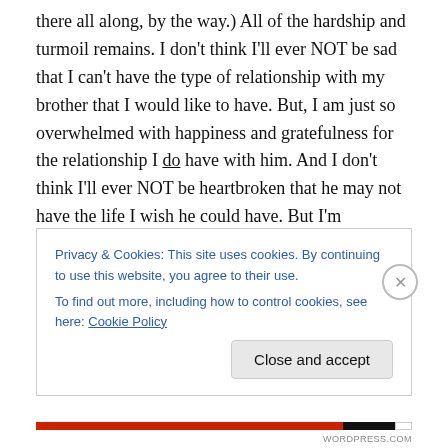there all along, by the way.) All of the hardship and turmoil remains. I don't think I'll ever NOT be sad that I can't have the type of relationship with my brother that I would like to have. But, I am just so overwhelmed with happiness and gratefulness for the relationship I do have with him. And I don't think I'll ever NOT be heartbroken that he may not have the life I wish he could have. But I'm determined (like the rest of my family) to make sure he has the best life he can.

He makes me smile unendingly. He makes me laugh, and
Privacy & Cookies: This site uses cookies. By continuing to use this website, you agree to their use.
To find out more, including how to control cookies, see here: Cookie Policy
Close and accept